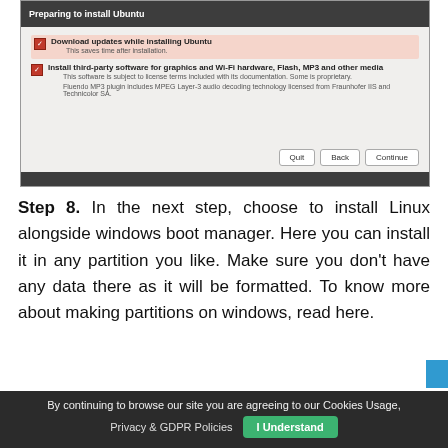[Figure (screenshot): Ubuntu installer dialog: 'Preparing to install Ubuntu' with two checked checkboxes: 'Download updates while installing Ubuntu' and 'Install third-party software for graphics and Wi-Fi hardware, Flash, MP3 and other media', and three buttons: Quit, Back, Continue.]
Step 8. In the next step, choose to install Linux alongside windows boot manager. Here you can install it in any partition you like. Make sure you don't have any data there as it will be formatted. To know more about making partitions on windows, read here.
By continuing to browse our site you are agreeing to our Cookies Usage, Privacy & GDPR Policies   I Understand